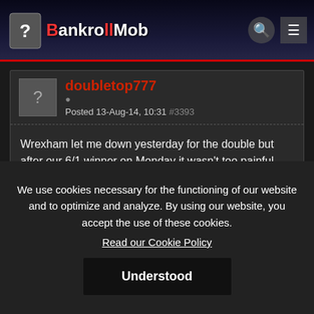The BankrollMob
doubletop777
Posted 13-Aug-14, 10:31 #3393
Wrexham let me down yesterday for the double but after our 6/1 winner on Monday it wasn't too painful. Today's double is, KUPS to beat MYPA and for Shanghai to beat Henan Construction, the double pays about 85/40
We use cookies necessary for the functioning of our website and to optimize and analyze. By using our website, you accept the use of these cookies.
Read our Cookie Policy
Understood